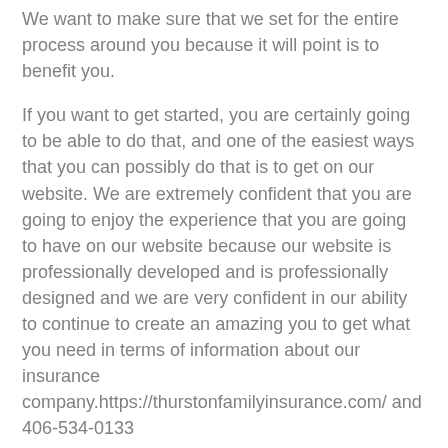We want to make sure that we set for the entire process around you because it will point is to benefit you.
If you want to get started, you are certainly going to be able to do that, and one of the easiest ways that you can possibly do that is to get on our website. We are extremely confident that you are going to enjoy the experience that you are going to have on our website because our website is professionally developed and is professionally designed and we are very confident in our ability to continue to create an amazing you to get what you need in terms of information about our insurance company.https://thurstonfamilyinsurance.com/ and 406-534-0133
Independent Insurance Agents Billings MT
We really love the Independent Insurance Agents Billings MT and we know that you are going to absolutely so fantastic rich we want to make sure